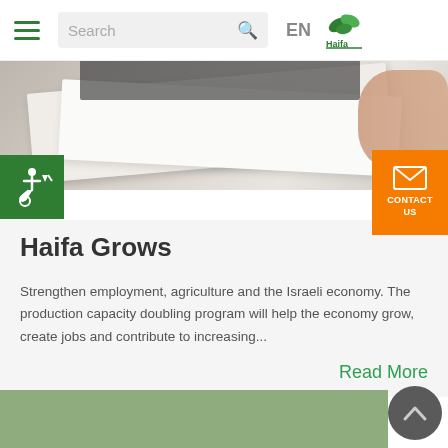Search | EN | Haifa
[Figure (photo): Hands holding papers on a desk, overhead view, close-up]
Haifa Grows
Strengthen employment, agriculture and the Israeli economy. The production capacity doubling program will help the economy grow, create jobs and contribute to increasing...
Read More